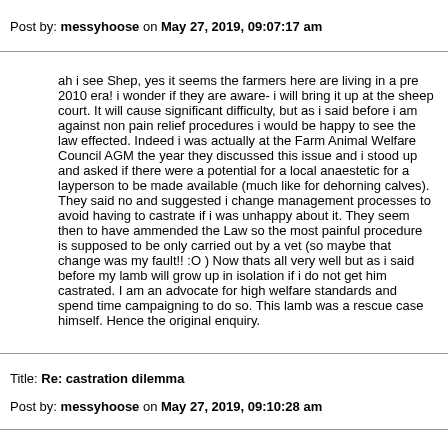Post by: messyhoose on May 27, 2019, 09:07:17 am
ah i see Shep, yes it seems the farmers here are living in a pre 2010 era! i wonder if they are aware- i will bring it up at the sheep court. It will cause significant difficulty, but as i said before i am against non pain relief procedures i would be happy to see the law effected. Indeed i was actually at the Farm Animal Welfare Council AGM the year they discussed this issue and i stood up and asked if there were a potential for a local anaestetic for a layperson to be made available (much like for dehorning calves). They said no and suggested i change management processes to avoid having to castrate if i was unhappy about it. They seem then to have ammended the Law so the most painful procedure is supposed to be only carried out by a vet (so maybe that change was my fault!! :O ) Now thats all very well but as i said before my lamb will grow up in isolation if i do not get him castrated. I am an advocate for high welfare standards and spend time campaigning to do so. This lamb was a rescue case himself. Hence the original enquiry.
Title: Re: castration dilemma
Post by: messyhoose on May 27, 2019, 09:10:28 am
oh and when i saw it being done in Wales that was in the 90's so was still legal then. Laws change, we have to keep up with the times, and i for one am happy about that (so will the lambs be i suspect!)